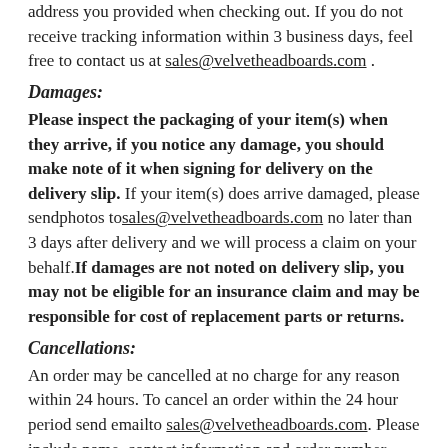address you provided when checking out. If you do not receive tracking information within 3 business days, feel free to contact us at sales@velvetheadboards.com .
Damages:
Please inspect the packaging of your item(s) when they arrive, if you notice any damage, you should make note of it when signing for delivery on the delivery slip. If your item(s) does arrive damaged, please sendphotos tosales@velvetheadboards.com no later than 3 days after delivery and we will process a claim on your behalf.If damages are not noted on delivery slip, you may not be eligible for an insurance claim and may be responsible for cost of replacement parts or returns.
Cancellations:
An order may be cancelled at no charge for any reason within 24 hours. To cancel an order within the 24 hour period send emailto sales@velvetheadboards.com. Please include name, contact information and order number. You will receive a confirmation email informing you if the request is approved. After the 24 hour period, we will place the order and cannot